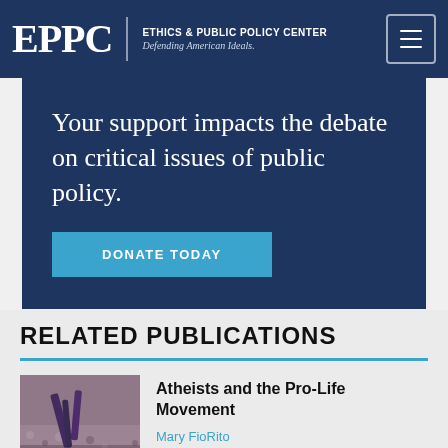EPPC | ETHICS & PUBLIC POLICY CENTER Defending American Ideals.
Your support impacts the debate on critical issues of public policy.
DONATE TODAY
RELATED PUBLICATIONS
[Figure (photo): Thumbnail photo of hands holding tools outdoors on gravel]
Atheists and the Pro-Life Movement
Mary FioRito